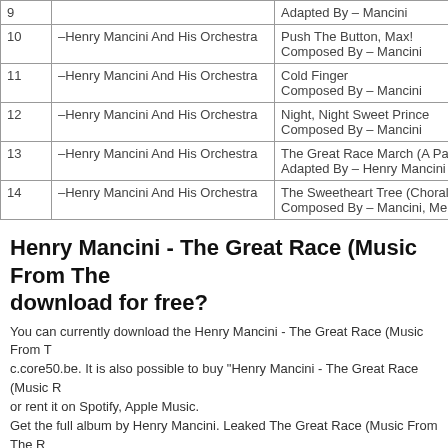| # | Artist | Info |
| --- | --- | --- |
| 9 |  | Adapted By – Mancini |
| 10 | –Henry Mancini And His Orchestra | Push The Button, Max!
Composed By – Mancini |
| 11 | –Henry Mancini And His Orchestra | Cold Finger
Composed By – Mancini |
| 12 | –Henry Mancini And His Orchestra | Night, Night Sweet Prince
Composed By – Mancini |
| 13 | –Henry Mancini And His Orchestra | The Great Race March (A Patri…
Adapted By – Henry Mancini |
| 14 | –Henry Mancini And His Orchestra | The Sweetheart Tree (Choral)
Composed By – Mancini, Merc… |
Henry Mancini - The Great Race (Music From The… download for free?
You can currently download the Henry Mancini - The Great Race (Music From T… c.core50.be. It is also possible to buy "Henry Mancini - The Great Race (Music R… or rent it on Spotify, Apple Music.
Get the full album by Henry Mancini. Leaked The Great Race (Music From The R… All songs for free.
Why use core50.be?
Fast downloads, up to 100MB/sec.
Secure, encrypted servers for privacy.